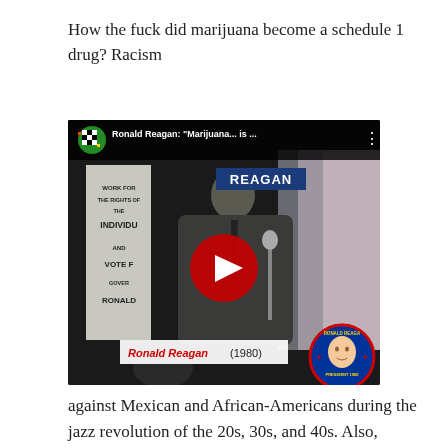How the fuck did marijuana become a schedule 1 drug? Racism
[Figure (screenshot): YouTube video thumbnail showing Ronald Reagan speaking at a podium in 1980, with a banner reading 'WORK FOR THE RIGHTS OF THE INDIVIDUAL AND VOTE FOR GOVERNOR RONALD', a REAGAN campaign sign, YouTube top bar with channel avatar and title 'Ronald Reagan: "Marijuana... is ..."', a red YouTube play button, a lower-third label reading 'Ronald Reagan (1980)' in red and black, and a circular campaign badge in the bottom right.]
against Mexican and African-Americans during the jazz revolution of the 20s, 30s, and 40s. Also, Ronald